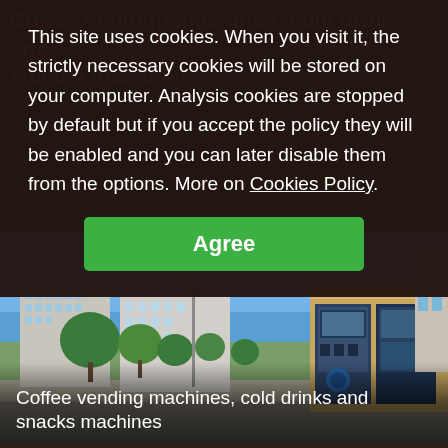This site uses cookies. When you visit it, the strictly necessary cookies will be stored on your computer. Analysis cookies are stopped by default but if you accept the policy they will be enabled and you can later disable them from the options. More on Cookies Policy.
Agree
[Figure (photo): Outdoor photo showing a kiosk with vending machines (cold drinks and snacks) on the right side, apartment buildings and trees in the background, sunny day with blue sky.]
Coffee vending machines, cold drinks and snacks machines